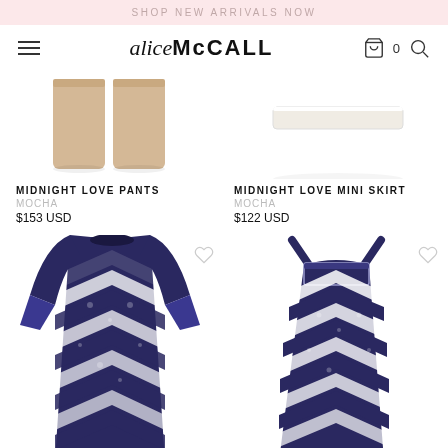SHOP NEW ARRIVALS NOW
[Figure (screenshot): alice McCALL website navigation bar with hamburger menu, logo, cart icon with 0, and search icon]
[Figure (photo): Beige/mocha coloured shorts/pants product photo]
MIDNIGHT LOVE PANTS
MOCHA
$153 USD
[Figure (photo): Cream/white mini skirt product photo]
MIDNIGHT LOVE MINI SKIRT
MOCHA
$122 USD
[Figure (photo): Navy and white floral chevron pattern long-sleeve mini dress product photo, partially cropped]
[Figure (photo): Navy and white floral chevron pattern maxi dress with shoulder ties product photo, partially cropped]